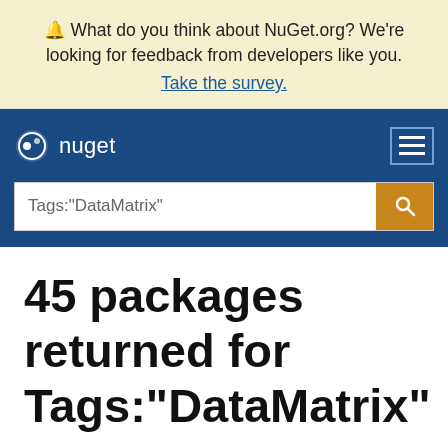🔔 What do you think about NuGet.org? We're looking for feedback from developers like you. Take the survey.
[Figure (screenshot): NuGet navigation bar with logo and hamburger menu, plus search bar with Tags:"DataMatrix" query]
45 packages returned for Tags:"DataMatrix"
Filter